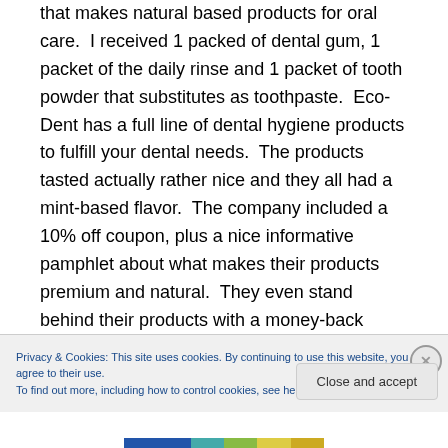that makes natural based products for oral care.  I received 1 packed of dental gum, 1 packet of the daily rinse and 1 packet of tooth powder that substitutes as toothpaste.  Eco-Dent has a full line of dental hygiene products to fulfill your dental needs.  The products tasted actually rather nice and they all had a mint-based flavor.  The company included a 10% off coupon, plus a nice informative pamphlet about what makes their products premium and natural.  They even stand behind their products with a money-back guarantee!  I'm addicted to keeping my teeth white and
Privacy & Cookies: This site uses cookies. By continuing to use this website, you agree to their use.
To find out more, including how to control cookies, see here: Cookie Policy
Close and accept